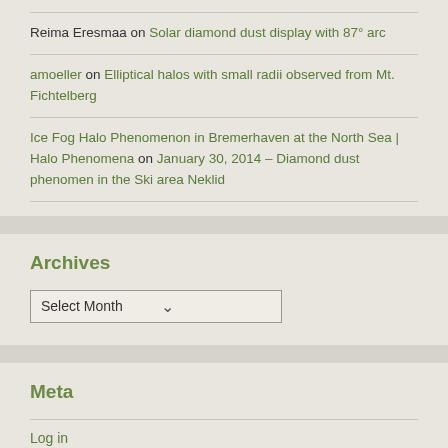Reima Eresmaa on Solar diamond dust display with 87° arc
amoeller on Elliptical halos with small radii observed from Mt. Fichtelberg
Ice Fog Halo Phenomenon in Bremerhaven at the North Sea | Halo Phenomena on January 30, 2014 – Diamond dust phenomen in the Ski area Neklid
Archives
Select Month
Meta
Log in
Entries feed
Comments feed